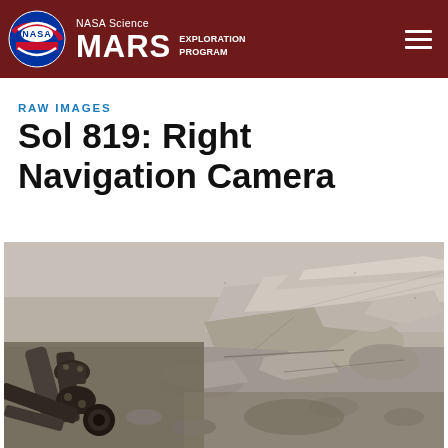NASA Science MARS EXPLORATION PROGRAM
RAW IMAGES
Sol 819: Right Navigation Camera
[Figure (photo): Black and white raw image from Mars rover's Right Navigation Camera on Sol 819, showing rocky Martian surface with flat layered rocks in the background and rover mechanical arm/equipment visible in the foreground lower left.]